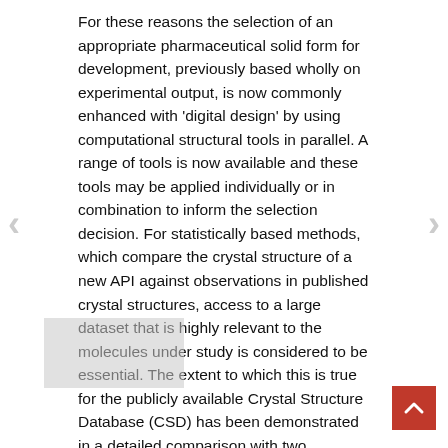For these reasons the selection of an appropriate pharmaceutical solid form for development, previously based wholly on experimental output, is now commonly enhanced with 'digital design' by using computational structural tools in parallel. A range of tools is now available and these tools may be applied individually or in combination to inform the selection decision. For statistically based methods, which compare the crystal structure of a new API against observations in published crystal structures, access to a large dataset that is highly relevant to the molecules under study is considered to be essential. The extent to which this is true for the publicly available Crystal Structure Database (CSD) has been demonstrated in a detailed comparison with two proprietary pharmaceutical databases.[5] Information derived from the CSD has now been used on several pharmaceutically relevant compounds to make successful knowledge-based predictions of polymorphism using the hydrogen-bond propensity